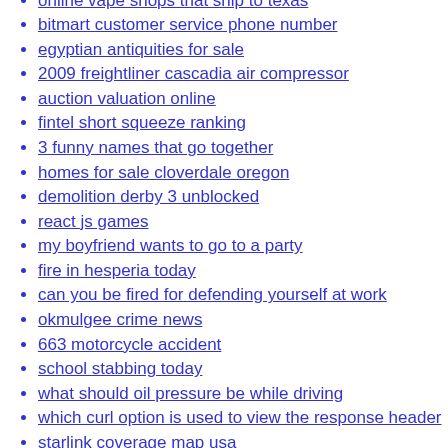online vape shops that ship to texas
bitmart customer service phone number
egyptian antiquities for sale
2009 freightliner cascadia air compressor
auction valuation online
fintel short squeeze ranking
3 funny names that go together
homes for sale cloverdale oregon
demolition derby 3 unblocked
react js games
my boyfriend wants to go to a party
fire in hesperia today
can you be fired for defending yourself at work
okmulgee crime news
663 motorcycle accident
school stabbing today
what should oil pressure be while driving
which curl option is used to view the response header
starlink coverage map usa
clayton homes doublewide prices
ollivanders wand shop logo
quotes about promiscuous woman
can gallstones make you tired and dizzy
campers for sale albany ny
duluth police department records